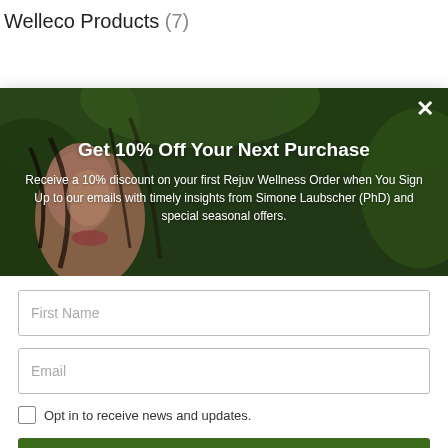Welleco Products (7)
[Figure (photo): Modal popup overlay showing a woman smiling outdoors with green foliage background, with promotional text overlay]
Get 10% Off Your Next Purchase
Receive a 10% discount on your first Rejuv Wellness Order when You Sign Up to our emails with timely insights from Simone Laubscher (PhD) and special seasonal offers.
First Name
Email
Opt in to receive news and updates.
SUBSCRIBE